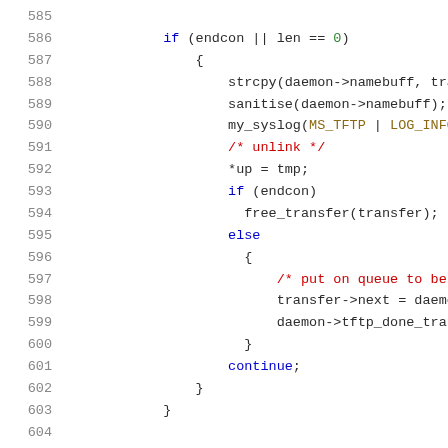Source code listing lines 585-605 showing C code with syntax highlighting. Lines include if/else control flow, strcpy, sanitise, my_syslog, free_transfer, continue statements, and queue assignment logic.